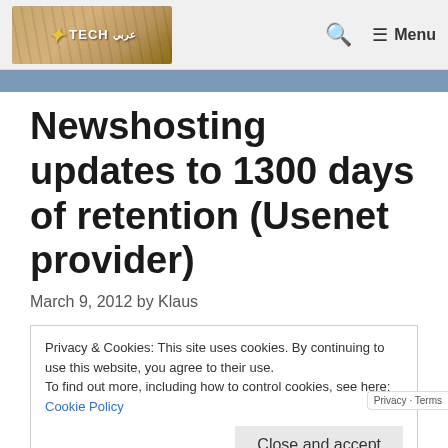TECH [logo] | Search | ≡ Menu
Newshosting updates to 1300 days of retention (Usenet provider)
March 9, 2012 by Klaus
Privacy & Cookies: This site uses cookies. By continuing to use this website, you agree to their use.
To find out more, including how to control cookies, see here:
Cookie Policy

[Close and accept]
Newshosting, the recognized leader in Usenet newsgroup access, today announced